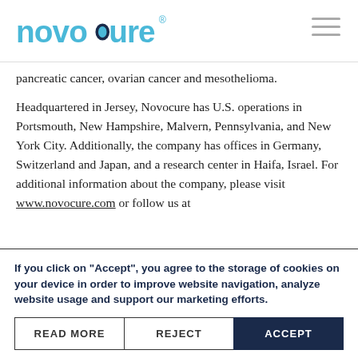Novocure
pancreatic cancer, ovarian cancer and mesothelioma.
Headquartered in Jersey, Novocure has U.S. operations in Portsmouth, New Hampshire, Malvern, Pennsylvania, and New York City. Additionally, the company has offices in Germany, Switzerland and Japan, and a research center in Haifa, Israel. For additional information about the company, please visit www.novocure.com or follow us at
If you click on "Accept", you agree to the storage of cookies on your device in order to improve website navigation, analyze website usage and support our marketing efforts.
READ MORE | REJECT | ACCEPT